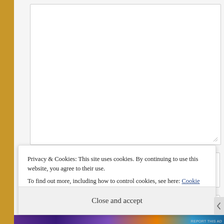[Figure (screenshot): A web form textarea input field with a resize handle in the bottom-right corner, shown against a white background.]
NAME
EMAIL
Privacy & Cookies: This site uses cookies. By continuing to use this website, you agree to their use.
To find out more, including how to control cookies, see here: Cookie Policy
Close and accept